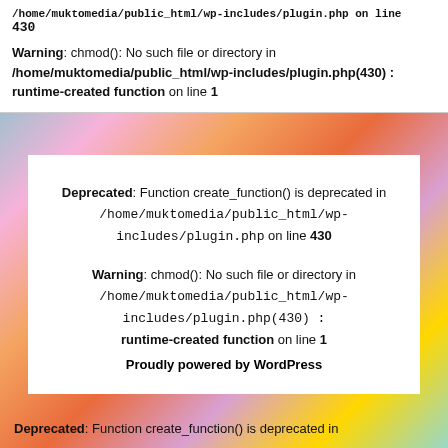/home/muktomedia/public_html/wp-includes/plugin.php on line 430
Warning: chmod(): No such file or directory in /home/muktomedia/public_html/wp-includes/plugin.php(430) : runtime-created function on line 1
Deprecated: Function create_function() is deprecated in /home/muktomedia/public_html/wp-includes/plugin.php on line 430
Warning: chmod(): No such file or directory in /home/muktomedia/public_html/wp-includes/plugin.php(430) : runtime-created function on line 1
Proudly powered by WordPress
Deprecated: Function create_function() is deprecated in